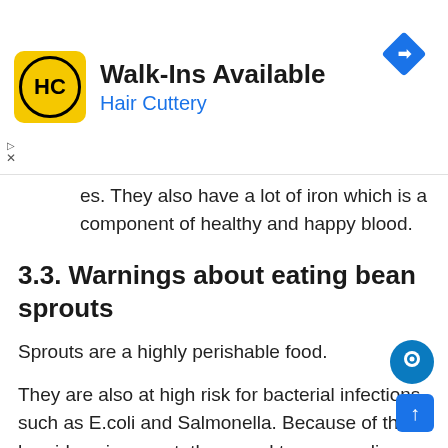[Figure (infographic): Hair Cuttery advertisement banner with logo, 'Walk-Ins Available' headline, navigation arrow icon, and close/play controls]
es. They also have a lot of iron which is a component of healthy and happy blood.
3.3. Warnings about eating bean sprouts
Sprouts are a highly perishable food.
They are also at high risk for bacterial infections, such as E.coli and Salmonella. Because of the humid environment, they need to grow, coli can develop.